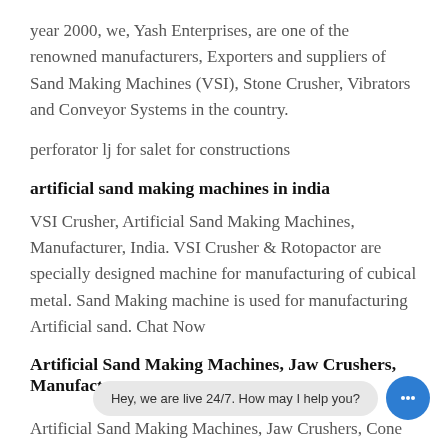year 2000, we, Yash Enterprises, are one of the renowned manufacturers, Exporters and suppliers of Sand Making Machines (VSI), Stone Crusher, Vibrators and Conveyor Systems in the country.
perforator lj for salet for constructions
artificial sand making machines in india
VSI Crusher, Artificial Sand Making Machines, Manufacturer, India. VSI Crusher & Rotopactor are specially designed machine for manufacturing of cubical metal. Sand Making machine is used for manufacturing Artificial sand. Chat Now
Artificial Sand Making Machines, Jaw Crushers, Manufacturer
Hey, we are live 24/7. How may I help you?
Artificial Sand Making Machines, Jaw Crushers, Cone